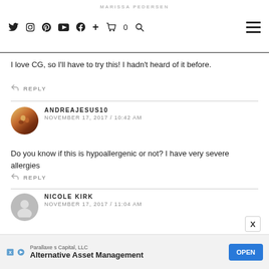MARISSA PEDERSEN — navigation icons and hamburger menu
I love CG, so I'll have to try this! I hadn't heard of it before.
REPLY
ANDREAJESUS10
NOVEMBER 17, 2017 / 10:42 AM
Do you know if this is hypoallergenic or not? I have very severe allergies
REPLY
NICOLE KIRK
NOVEMBER 17, 2017 / 11:04 AM
I'm always searching for the perfect mascara. I will have to try this!
Parallaxe s Capital, LLC
Alternative Asset Management
OPEN